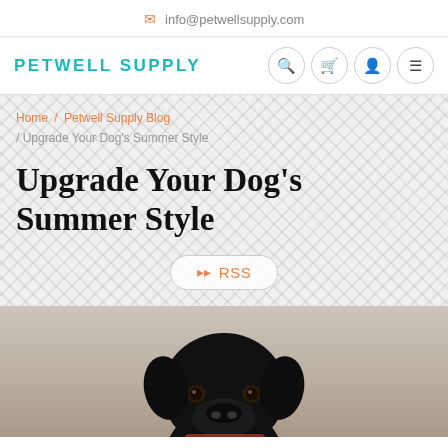info@petwellsupply.com
PETWELL SUPPLY
Home / Petwell Supply Blog / Upgrade Your Dog's Summer Style
Upgrade Your Dog's Summer Style
RSS
[Figure (photo): Black Labrador dog looking upward, photographed from below against a light background]